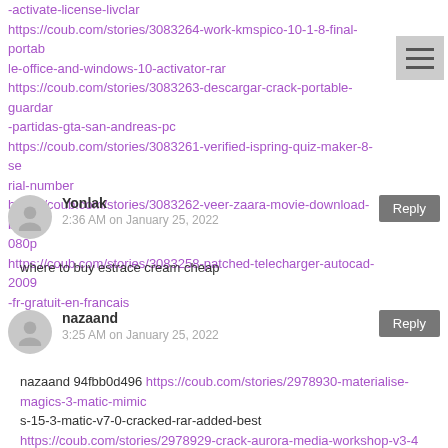-activate-license-livclar
https://coub.com/stories/3083264-work-kmspico-10-1-8-final-portable-office-and-windows-10-activator-rar
https://coub.com/stories/3083263-descargar-crack-portable-guardar-partidas-gta-san-andreas-pc
https://coub.com/stories/3083261-verified-ispring-quiz-maker-8-serial-number
https://coub.com/stories/3083262-veer-zaara-movie-download-best-1080p
https://coub.com/stories/3083258-patched-telecharger-autocad-2009-fr-gratuit-en-francais
Yonlak
2:36 AM on January 25, 2022
where to buy estrace cream cheap
nazaand
3:25 AM on January 25, 2022
nazaand 94fbb0d496 https://coub.com/stories/2978930-materialise-magics-3-matic-mimic s-15-3-matic-v7-0-cracked-rar-added-best https://coub.com/stories/2978929-crack-aurora-media-workshop-v3-4-34-serial-upd https://coub.com/stories/2978927-free-fight-night-champion-pc-ski drow-torrent